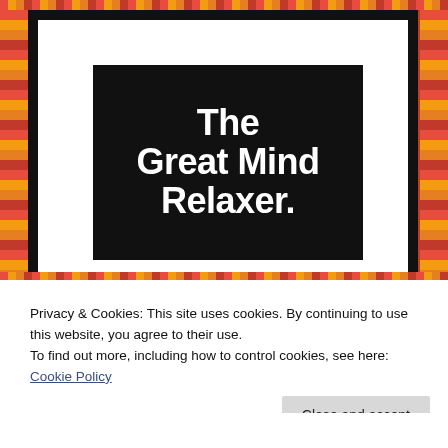[Figure (illustration): Black advertisement image with white bold text reading 'The Great Mind Relaxer.' on a dark background, framed by white border inside a white card]
Privacy & Cookies: This site uses cookies. By continuing to use this website, you agree to their use.
To find out more, including how to control cookies, see here: Cookie Policy
Close and accept